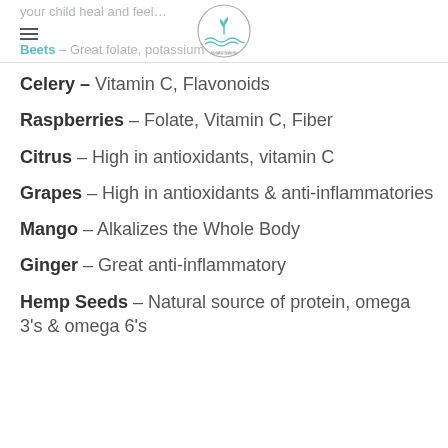your child heal and feel... | Beets – Great folate, potassium
Celery – Vitamin C, Flavonoids
Raspberries – Folate, Vitamin C, Fiber
Citrus – High in antioxidants, vitamin C
Grapes – High in antioxidants & anti-inflammatories
Mango – Alkalizes the Whole Body
Ginger – Great anti-inflammatory
Hemp Seeds – Natural source of protein, omega 3's & omega 6's